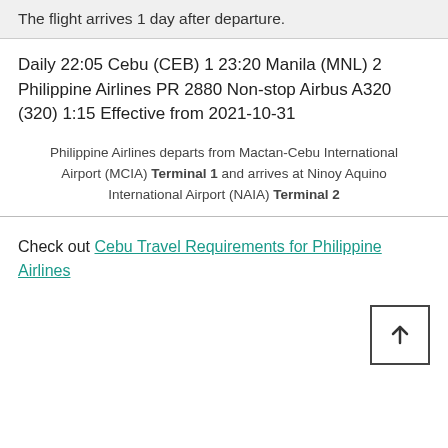The flight arrives 1 day after departure.
Daily 22:05 Cebu (CEB) 1 23:20 Manila (MNL) 2 Philippine Airlines PR 2880 Non-stop Airbus A320 (320) 1:15 Effective from 2021-10-31
Philippine Airlines departs from Mactan-Cebu International Airport (MCIA) Terminal 1 and arrives at Ninoy Aquino International Airport (NAIA) Terminal 2
Check out Cebu Travel Requirements for Philippine Airlines